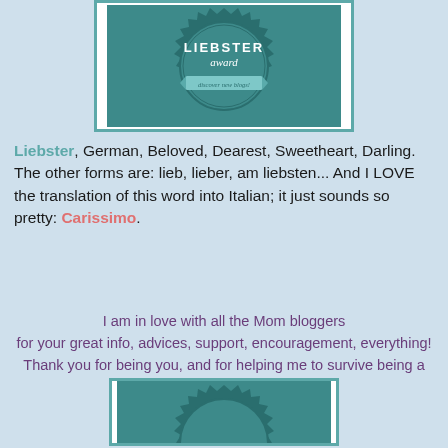[Figure (illustration): Liebster Award badge — dark teal circular seal with jagged edges, text 'LIEBSTER award discover new blogs!' with a ribbon banner, on white background with teal border]
Liebster, German, Beloved, Dearest, Sweetheart, Darling. The other forms are: lieb, lieber, am liebsten... And I LOVE the translation of this word into Italian; it just sounds so pretty: Carissimo.
I am in love with all the Mom bloggers for your great info, advices, support, encouragement, everything! Thank you for being you, and for helping me to survive being a mother!
[Figure (illustration): Liebster Award badge bottom portion — dark teal circular seal partially visible at bottom of page]